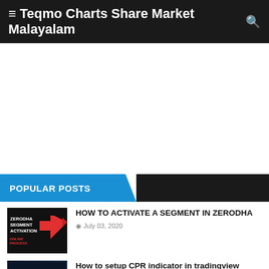Teqmo Charts Share Market Malayalam
POPULAR POSTS
HOW TO ACTIVATE A SEGMENT IN ZERODHA
July 03, 2020
How to setup CPR indicator in tradingview
March 06, 2020